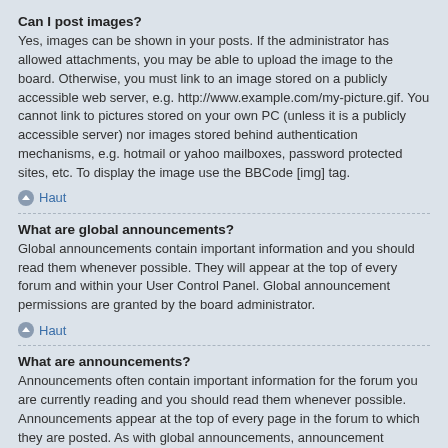Can I post images?
Yes, images can be shown in your posts. If the administrator has allowed attachments, you may be able to upload the image to the board. Otherwise, you must link to an image stored on a publicly accessible web server, e.g. http://www.example.com/my-picture.gif. You cannot link to pictures stored on your own PC (unless it is a publicly accessible server) nor images stored behind authentication mechanisms, e.g. hotmail or yahoo mailboxes, password protected sites, etc. To display the image use the BBCode [img] tag.
Haut
What are global announcements?
Global announcements contain important information and you should read them whenever possible. They will appear at the top of every forum and within your User Control Panel. Global announcement permissions are granted by the board administrator.
Haut
What are announcements?
Announcements often contain important information for the forum you are currently reading and you should read them whenever possible. Announcements appear at the top of every page in the forum to which they are posted. As with global announcements, announcement permissions are granted by the board administrator.